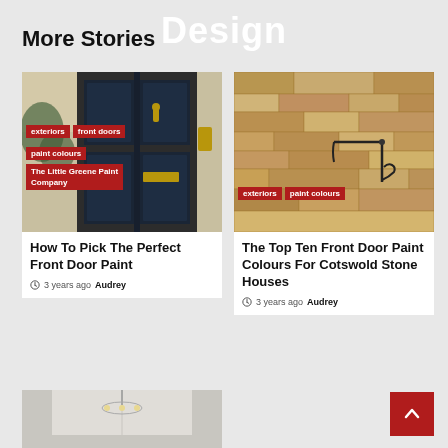Design
More Stories
[Figure (photo): Dark navy blue front door with brass knocker, with red tag overlays for 'exteriors', 'front doors', 'paint colours', and 'The Little Greene Paint Company']
How To Pick The Perfect Front Door Paint
3 years ago  Audrey
[Figure (photo): Cotswold stone wall with wrought iron bracket, with red tag overlays for 'exteriors' and 'paint colours']
The Top Ten Front Door Paint Colours For Cotswold Stone Houses
3 years ago  Audrey
[Figure (photo): Partial view of an interior room with chandelier, bottom of page]